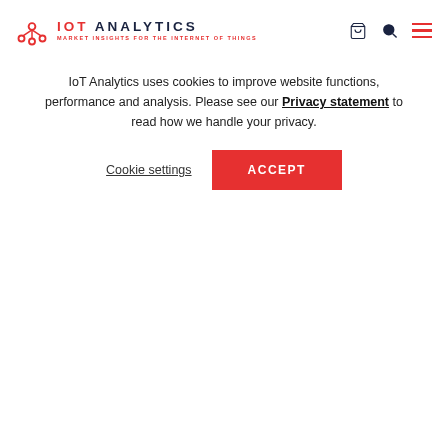IOT ANALYTICS — MARKET INSIGHTS FOR THE INTERNET OF THINGS
The 7 Most Demanded IoT System Integration Services
April 28, 2021   Knud Lasse Lueth
IoT Analytics uses cookies to improve website functions, performance and analysis. Please see our Privacy statement to read how we handle your privacy.
Cookie settings   ACCEPT